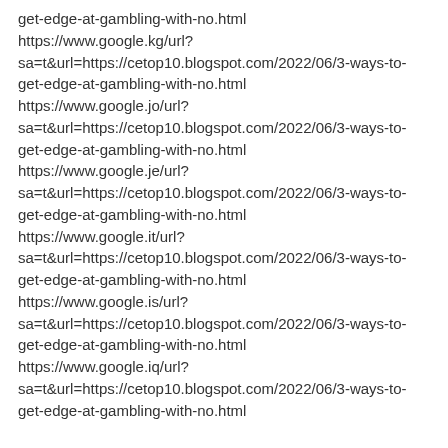get-edge-at-gambling-with-no.html
https://www.google.kg/url?
sa=t&url=https://cetop10.blogspot.com/2022/06/3-ways-to-get-edge-at-gambling-with-no.html
https://www.google.jo/url?
sa=t&url=https://cetop10.blogspot.com/2022/06/3-ways-to-get-edge-at-gambling-with-no.html
https://www.google.je/url?
sa=t&url=https://cetop10.blogspot.com/2022/06/3-ways-to-get-edge-at-gambling-with-no.html
https://www.google.it/url?
sa=t&url=https://cetop10.blogspot.com/2022/06/3-ways-to-get-edge-at-gambling-with-no.html
https://www.google.is/url?
sa=t&url=https://cetop10.blogspot.com/2022/06/3-ways-to-get-edge-at-gambling-with-no.html
https://www.google.iq/url?
sa=t&url=https://cetop10.blogspot.com/2022/06/3-ways-to-get-edge-at-gambling-with-no.html